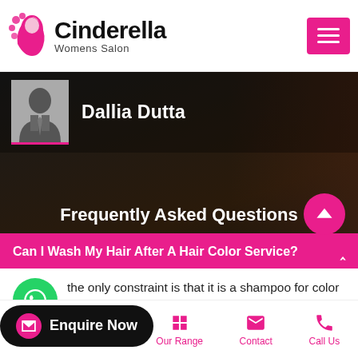Cinderella Womens Salon
Dallia Dutta
Frequently Asked Questions
Can I Wash My Hair After A Hair Color Service? ^
the only constraint is that it is a shampoo for color care. Colour based products help keep your ...elp to protect your investment ...g... t time.
Enquire Now
Home | About Us | Our Range | Contact | Call Us